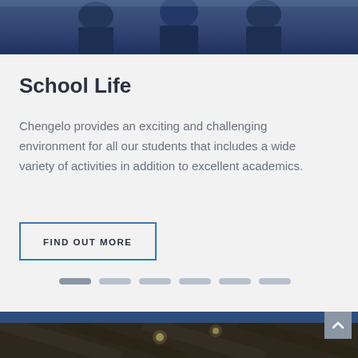[Figure (photo): Top portion showing students in dark school uniforms against a blurred outdoor background]
School Life
Chengelo provides an exciting and challenging environment for all our students that includes a wide variety of activities in addition to excellent academics.
FIND OUT MORE
[Figure (other): Carousel navigation dots — 6 pills, first one slightly darker (active)]
[Figure (photo): Bottom strip showing interior of a building with ceiling structure and pendant lights]